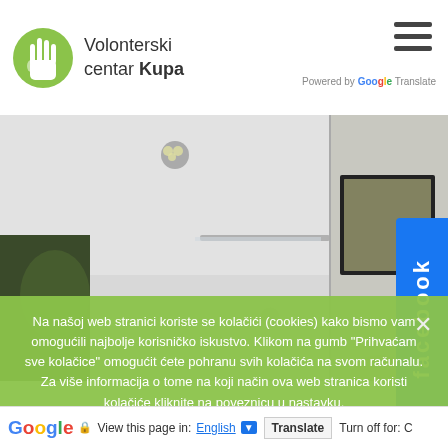Volonterski centar Kupa
[Figure (photo): Interior room photo showing ceiling with lights, a framed painting on the wall, and a plant in the corner]
[Figure (other): Facebook sidebar link button in blue]
Na našoj web stranici koriste se kolačići (cookies) kako bismo vam omogućili najbolje korisničko iskustvo. Klikom na gumb "Prihvaćam sve kolačice" omogućit ćete pohranu svih kolačića na svom računalu. Za više informacija o tome na koji način ova web stranica koristi kolačiće kliknite na poveznicu u nastavku.
PRIHVAĆAM SVE KOLAČICE   PRIHVAĆAM SAMO NUŽNE KOLAČICE
Google   View this page in: English   Translate   Turn off for: C